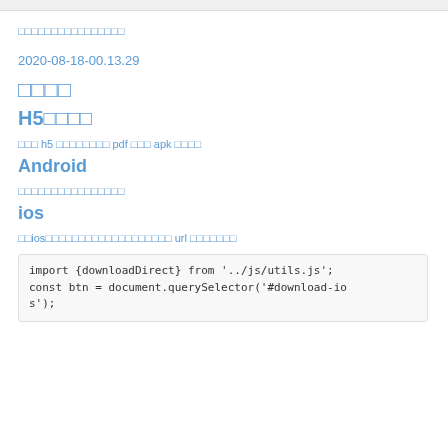□□□□□□□□□□□□□□□□
2020-08-18-00.13.29
□□□□
H5□□□□
□□□ h5 □□□□□□□□ pdf □□□ apk □□□□
Android
□□□□□□□□□□□□□□□□
ios
□□ios□□□□□□□□□□□□□□□□□□□ url □□□□□□□
import {downloadDirect} from '../js/utils.js';
const btn = document.querySelector('#download-ios');